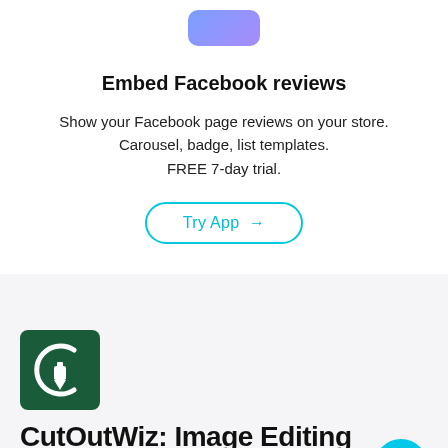[Figure (logo): Purple/blue rounded rectangle app icon at top center]
Embed Facebook reviews
Show your Facebook page reviews on your store. Carousel, badge, list templates. FREE 7-day trial.
[Figure (other): Try App button with cyan border and arrow]
[Figure (logo): CutOutWiz dark green square logo with letter G and pen nib icon]
CutOutWiz: Image Editing
Get Stunning Product Photos in 8-12 hours with